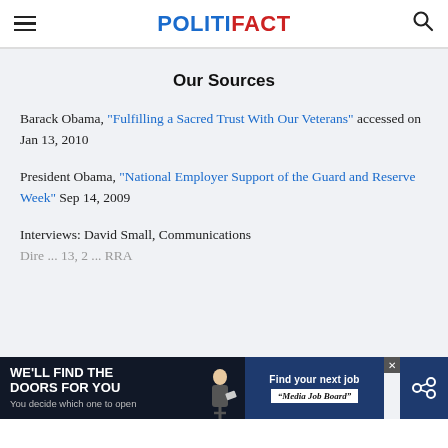POLITIFACT
Our Sources
Barack Obama, "Fulfilling a Sacred Trust With Our Veterans" accessed on Jan 13, 2010
President Obama, "National Employer Support of the Guard and Reserve Week" Sep 14, 2009
Interviews: David Small, Communications Dire[ctor] ... 13, 2[010] ... RRA